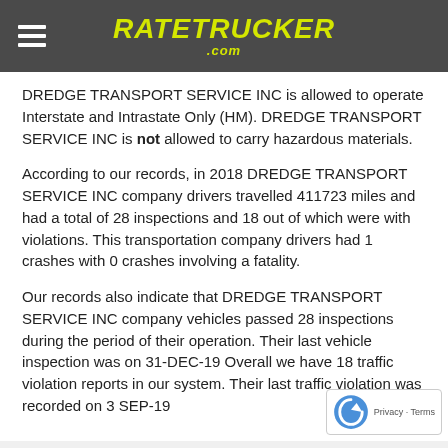RATETRUCKER .com
DREDGE TRANSPORT SERVICE INC is allowed to operate Interstate and Intrastate Only (HM). DREDGE TRANSPORT SERVICE INC is not allowed to carry hazardous materials.
According to our records, in 2018 DREDGE TRANSPORT SERVICE INC company drivers travelled 411723 miles and had a total of 28 inspections and 18 out of which were with violations. This transportation company drivers had 1 crashes with 0 crashes involving a fatality.
Our records also indicate that DREDGE TRANSPORT SERVICE INC company vehicles passed 28 inspections during the period of their operation. Their last vehicle inspection was on 31-DEC-19 Overall we have 18 traffic violation reports in our system. Their last traffic violation was recorded on 3 SEP-19